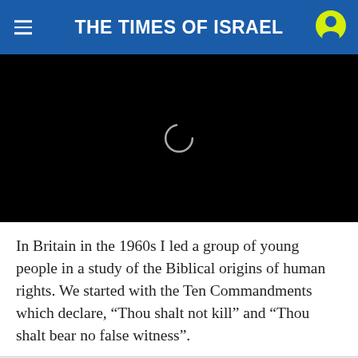THE TIMES OF ISRAEL
[Figure (screenshot): Video loading screen — black rectangle with a white spinner/loading circle in the center]
In Britain in the 1960s I led a group of young people in a study of the Biblical origins of human rights. We started with the Ten Commandments which declare, “Thou shalt not kill” and “Thou shalt bear no false witness”.
[Figure (infographic): Social share buttons: Facebook (blue), Twitter (light blue), Email (red), WhatsApp (green)]